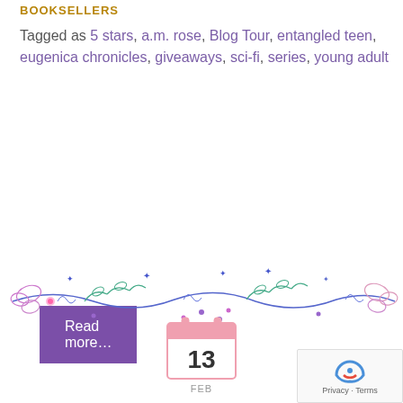BOOKSELLERS
Tagged as 5 stars, a.m. rose, Blog Tour, entangled teen, eugenica chronicles, giveaways, sci-fi, series, young adult
Read more...
[Figure (illustration): Decorative floral vine divider with blue, purple, teal, and pink flowers and leaves stretching across the page]
[Figure (illustration): Pink calendar icon showing the number 13 with FEB below]
FEB
[Figure (other): reCAPTCHA privacy badge with circular arrow icon and Privacy - Terms text]